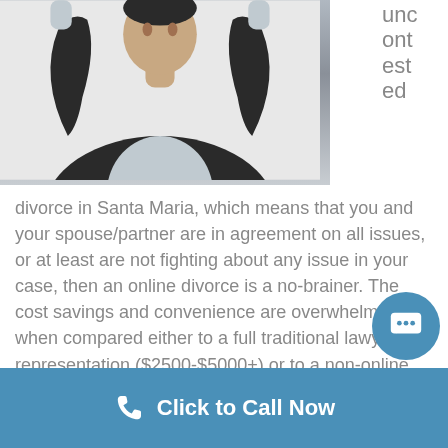[Figure (photo): Person in dark blazer with arms raised, wearing a light gray shirt underneath, photographed from chest up against white background]
uncontested
divorce in Santa Maria, which means that you and your spouse/partner are in agreement on all issues, or at least are not fighting about any issue in your case, then an online divorce is a no-brainer. The cost savings and convenience are overwhelming when compared either to a full traditional lawyer representation ($2500-$5000+) or to a non-online Main-Street type of paralegal ($500-1000).  Yes, those are fees for an uncontested divorce.
Click to Call Now